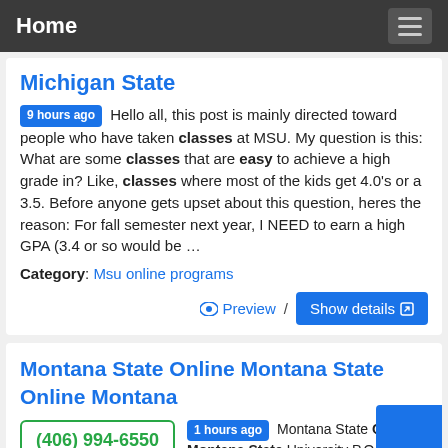Home
Michigan State
9 hours ago Hello all, this post is mainly directed toward people who have taken classes at MSU. My question is this: What are some classes that are easy to achieve a high grade in? Like, classes where most of the kids get 4.0's or a 3.5. Before anyone gets upset about this question, heres the reason: For fall semester next year, I NEED to earn a high GPA (3.4 or so would be …
Category: Msu online programs
Preview / Show details
Montana State Online Montana State Online Montana
(406) 994-6550
1 hours ago Montana State On... Montana State University P.O. P...